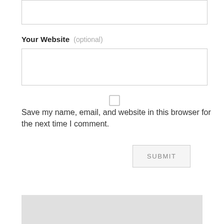[Figure (screenshot): Empty text input field (top, partially visible)]
Your Website (optional)
[Figure (screenshot): Empty text input field for website URL]
[Figure (screenshot): Checkbox (unchecked)]
Save my name, email, and website in this browser for the next time I comment.
[Figure (screenshot): SUBMIT button]
[Figure (screenshot): Gray rectangle block at bottom (partial, possibly a map or widget)]